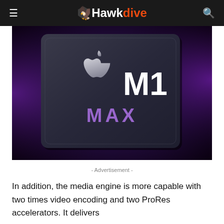Hawkdive
[Figure (photo): Apple M1 Max chip promotional image on dark purple background with Apple logo and text 'M1 MAX']
- Advertisement -
In addition, the media engine is more capable with two times video encoding and two ProRes accelerators. It delivers